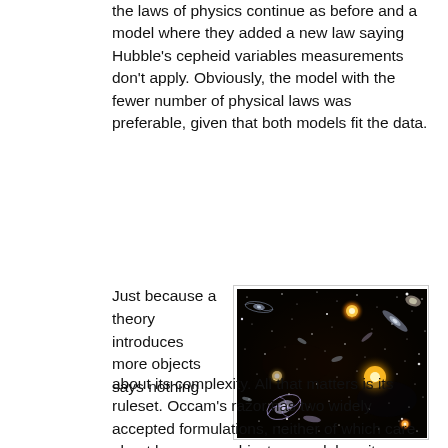the laws of physics continue as before and a model where they added a new law saying Hubble's cepheid variables measurements don't apply. Obviously, the model with the fewer number of physical laws was preferable, given that both models fit the data.
Just because a theory introduces more objects says nothing about its complexity. All that matters is its ruleset. Occam's razor has two widely accepted formulations, neither of which care about how many objects a model posits.
[Figure (photo): Deep space photograph showing numerous galaxies and stars against a black background, resembling a Hubble deep field image with spiral galaxies, elliptical galaxies, and bright stars visible.]